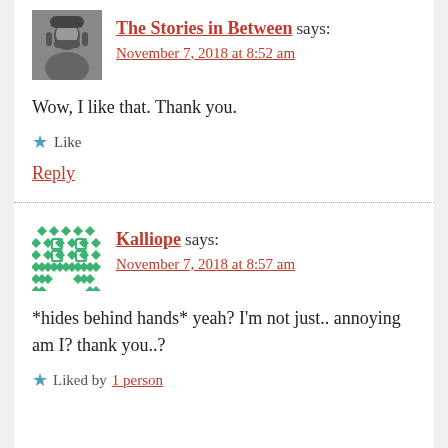[Figure (photo): Black and white avatar photo of a man with dark hair and beard]
The Stories in Between says:
November 7, 2018 at 8:52 am
Wow, I like that. Thank you.
Like
Reply
[Figure (illustration): Green geometric pixel/diamond pattern avatar for Kalliope]
Kalliope says:
November 7, 2018 at 8:57 am
*hides behind hands* yeah? I'm not just.. annoying am I? thank you..?
Liked by 1 person